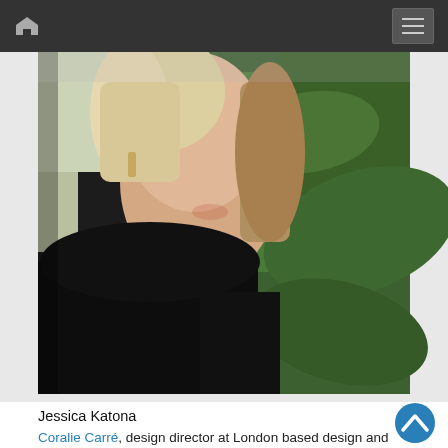Navigation bar with home icon and hamburger menu
[Figure (photo): Portrait photo of a woman with blonde shoulder-length hair wearing a black top, photographed in front of large green tropical leaves. The image is cropped at shoulder level showing face and upper body.]
Jessica Katona
Coralie Carré, design director at London based design and bran